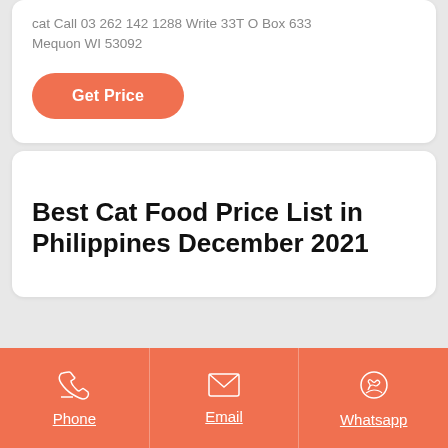cat Call 03 262 142 1288 Write 33T O Box 633 Mequon WI 53092
Get Price
Best Cat Food Price List in Philippines December 2021
Phone | Email | Whatsapp